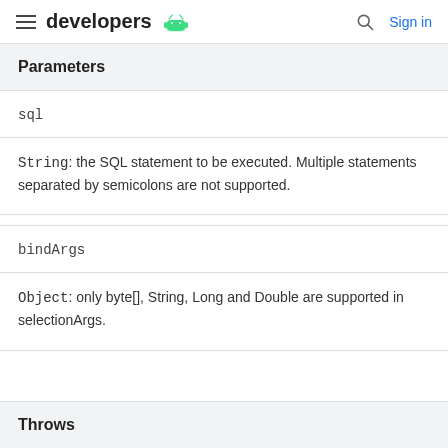developers
Parameters
sql
String: the SQL statement to be executed. Multiple statements separated by semicolons are not supported.
bindArgs
Object: only byte[], String, Long and Double are supported in selectionArgs.
Throws